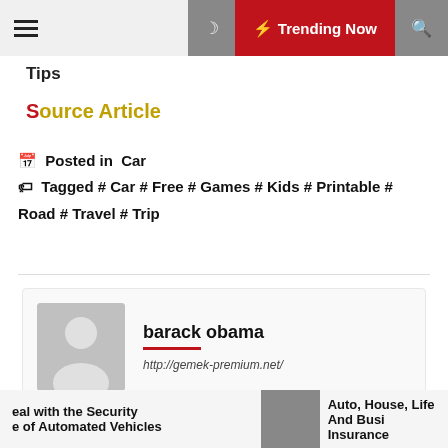Trending Now
Tips
Source Article
Posted in  Car
Tagged # Car # Free # Games # Kids # Printable # Road # Travel # Trip
barack obama
http://gemek-premium.net/
Next Post
eal with the Security e of Automated Vehicles
Auto, House, Life And Busi Insurance